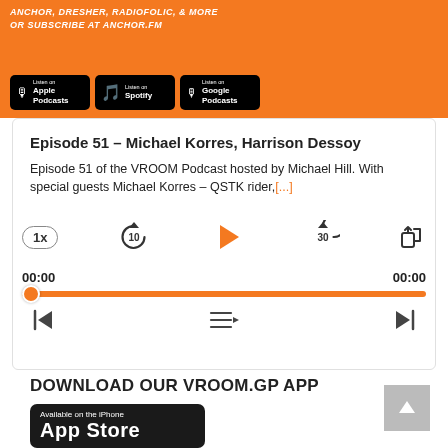[Figure (screenshot): Orange podcast banner with text 'ANCHOR, DRESHER, RADIOFOLIC, & MORE OR SUBSCRIBE AT ANCHOR.FM' and platform badges for Apple Podcasts, Spotify, Google Podcasts]
Episode 51 – Michael Korres, Harrison Dessoy
Episode 51 of the VROOM Podcast hosted by Michael Hill. With special guests Michael Korres – QSTK rider,[...]
[Figure (screenshot): Podcast audio player with playback controls: speed (1x), rewind 10, play button (orange), forward 30, share. Time stamps 00:00 and 00:00. Orange progress bar. Secondary controls: skip back, playlist menu, skip forward.]
DOWNLOAD OUR VROOM.GP APP
[Figure (screenshot): iPhone App Store badge: 'Available on the iPhone App Store' on black background with phone icon]